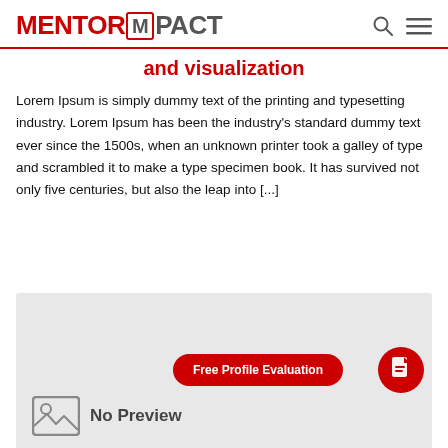MENTORMPACT
and visualization
Lorem Ipsum is simply dummy text of the printing and typesetting industry. Lorem Ipsum has been the industry's standard dummy text ever since the 1500s, when an unknown printer took a galley of type and scrambled it to make a type specimen book. It has survived not only five centuries, but also the leap into [...]
[Figure (screenshot): A light grey placeholder preview box with a 'Free Profile Evaluation' red button, a red circular document icon, and a 'No Preview' image placeholder at the bottom.]